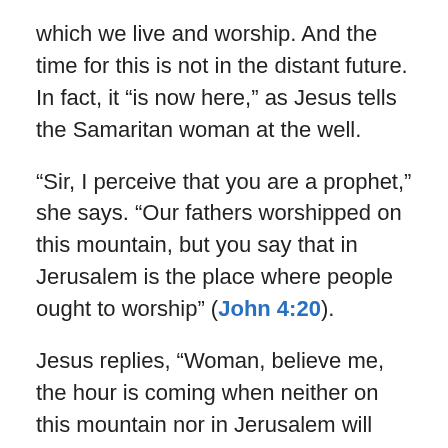which we live and worship. And the time for this is not in the distant future. In fact, it “is now here,” as Jesus tells the Samaritan woman at the well.
“Sir, I perceive that you are a prophet,” she says. “Our fathers worshipped on this mountain, but you say that in Jerusalem is the place where people ought to worship” (John 4:20).
Jesus replies, “Woman, believe me, the hour is coming when neither on this mountain nor in Jerusalem will you worship the Father … the hour is coming, and is now here, when the true worshippers will worship the Father in spirit and in truth” (John 4:21-22).
Jesus is talking about the place where people live and worship today—either in their sins, or in Christ’s body. He